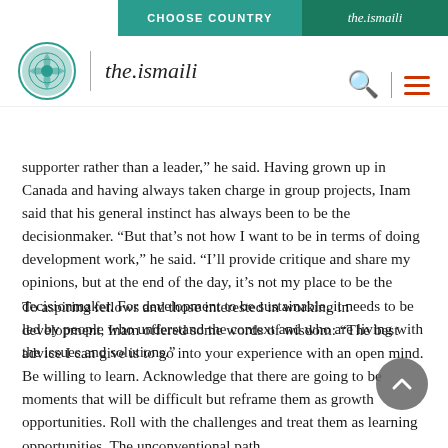CHOOSE COUNTRY | the.ismaili
[Figure (logo): the.ismaili website logo with circular teal ornamental icon and italic text 'the.ismaili']
supporter rather than a leader," he said. Having grown up in Canada and having always taken charge in group projects, Inam said that his general instinct has always been to be the decisionmaker. "But that's not how I want to be in terms of doing development work," he said. "I'll provide critique and share my opinions, but at the end of the day, it's not my place to be the decisionmaker. For development to be sustainable, it needs to be led by people who understand the context and who are living with the issues and solutions."
To aspiring fellows and those interested in working in development, Inam offered some words of wisdom: "The best advice I can give is to go into your experience with an open mind. Be willing to learn. Acknowledge that there are going to be moments that will be difficult but reframe them as growth opportunities. Roll with the challenges and treat them as learning opportunities. The unconventional path